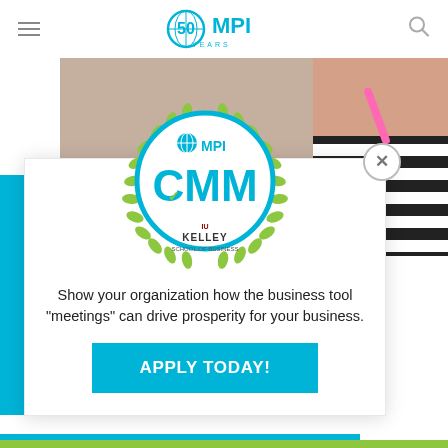MPI 50 Years
[Figure (logo): MPI CMM certification badge with laurel wreath, globe icon, checkmark, and Kelley School of Business logo. Blue circular border with green laurel leaves. Text: MPI CMM.]
Show your organization how the business tool "meetings" can drive prosperity for your business.
[Figure (other): APPLY TODAY! button in cyan/blue background]